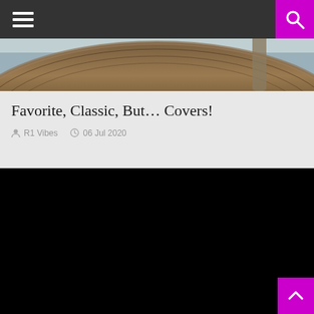Navigation header with hamburger menu and search icon
[Figure (photo): Close-up photograph of a vinyl record player/turntable showing the tonearm and record edge, with warm brown tones]
Favorite, Classic, But… Covers!
R1 Vibes  06 Jul 2020
[Figure (photo): Black video player embed area]